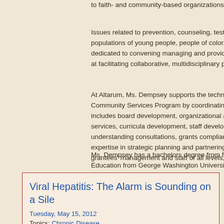to faith- and community-based organizations and clin
Issues related to prevention, counseling, testing and r populations of young people, people of color, and wor dedicated to convening managing and providing expe at facilitating collaborative, multidisciplinary partnersh
At Altarum, Ms. Dempsey supports the technical assis Community Services Program by coordinating technic includes board development, organizational and prog services, curricula development, staff development tr understanding consultations, grants compliance, and expertise in strategic planning and partnering, Ms. De grantees' management and staff of all levels, includin
Ms. Dempsey has a bachelors degree from from Cali Education from George Washington University.
Viral Hepatitis: The Alarm is Sounding on a Sile
Tuesday, May 15, 2012
Topics: Chronic Disease
         Public Health